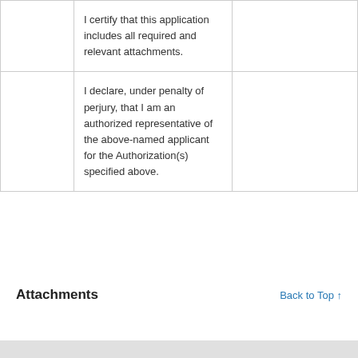|  | I certify that this application includes all required and relevant attachments. |  |
|  | I declare, under penalty of perjury, that I am an authorized representative of the above-named applicant for the Authorization(s) specified above. |  |
Attachments
Back to Top ↑